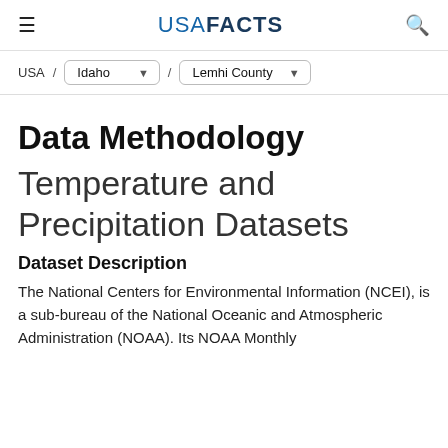USA FACTS
USA / Idaho / Lemhi County
Data Methodology
Temperature and Precipitation Datasets
Dataset Description
The National Centers for Environmental Information (NCEI), is a sub-bureau of the National Oceanic and Atmospheric Administration (NOAA). Its NOAA Monthly